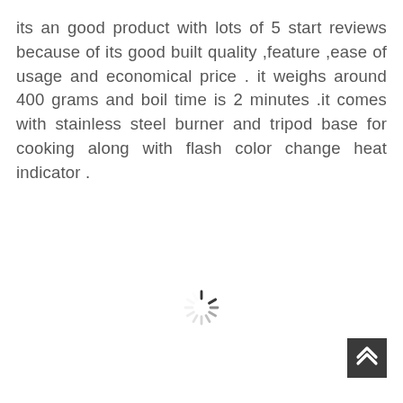its an good product with lots of 5 start reviews because of its good built quality ,feature ,ease of usage and economical price . it weighs around 400 grams and boil time is 2 minutes .it comes with stainless steel burner and tripod base for cooking along with flash color change heat indicator .
[Figure (other): Loading spinner icon (circular dashed spinner) centered near bottom of page]
[Figure (other): Dark grey square button with white upward chevron/arrow icon, positioned bottom-right corner]